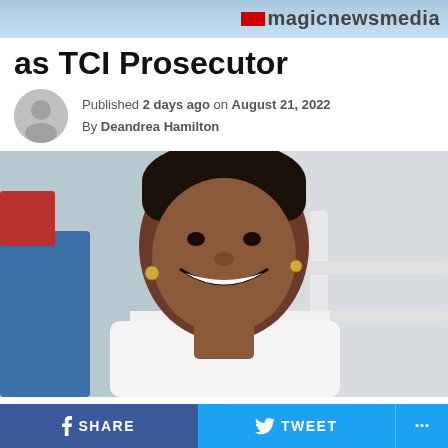magicnewsmedia
as TCI Prosecutor
Published 2 days ago on August 21, 2022
By Deandrea Hamilton
[Figure (photo): Smiling woman in white top taking a selfie, seated near blue chairs, indoor setting]
SHARE   TWEET   ...